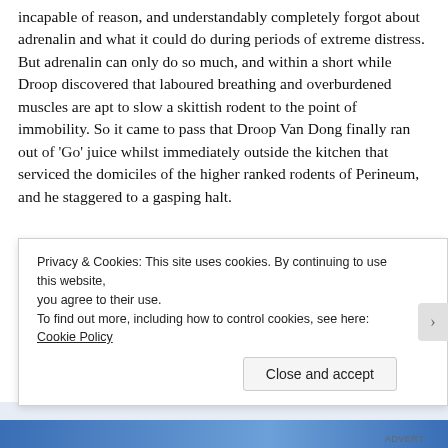incapable of reason, and understandably completely forgot about adrenalin and what it could do during periods of extreme distress. But adrenalin can only do so much, and within a short while Droop discovered that laboured breathing and overburdened muscles are apt to slow a skittish rodent to the point of immobility. So it came to pass that Droop Van Dong finally ran out of 'Go' juice whilst immediately outside the kitchen that serviced the domiciles of the higher ranked rodents of Perineum, and he staggered to a gasping halt.
Droop had no idea how long he stood there, bent double – his muscles and brain desperate for oxygen. But when sentience...
Privacy & Cookies: This site uses cookies. By continuing to use this website, you agree to their use.
To find out more, including how to control cookies, see here: Cookie Policy
Close and accept